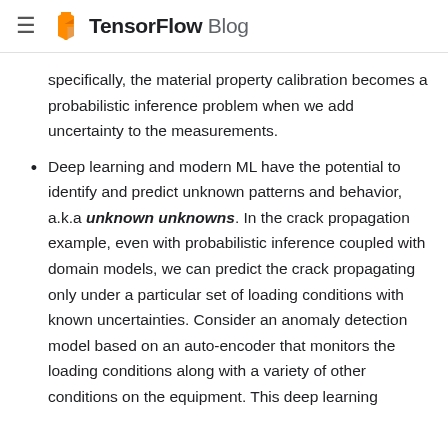TensorFlow Blog
specifically, the material property calibration becomes a probabilistic inference problem when we add uncertainty to the measurements.
Deep learning and modern ML have the potential to identify and predict unknown patterns and behavior, a.k.a unknown unknowns. In the crack propagation example, even with probabilistic inference coupled with domain models, we can predict the crack propagating only under a particular set of loading conditions with known uncertainties. Consider an anomaly detection model based on an auto-encoder that monitors the loading conditions along with a variety of other conditions on the equipment. This deep learning